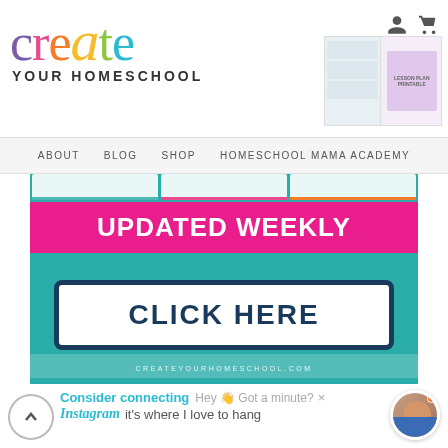create YOUR HOMESCHOOL
ABOUT  BLOG  SHOP  HOMESCHOOL MAMA ACADEMY
[Figure (screenshot): Banner image with teal background showing 'UPDATED WEEKLY' in white text on pink/magenta banner, and 'CLICK HERE' button with dark navy border on white background. URL: CREATEYOURHOMESCHOOL.COM at bottom.]
Consider connecting  Hey 👋 Got a minute? ×
Instagram it's where I love to hang